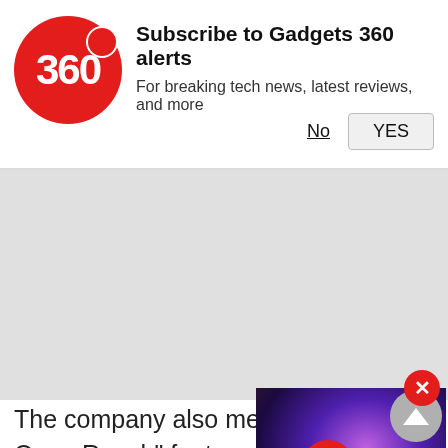[Figure (screenshot): Gadgets 360 notification subscription prompt with red circular logo showing '360', title 'Subscribe to Gadgets 360 alerts', subtitle 'For breaking tech news, latest reviews, and more', with 'No' and 'YES' buttons]
[Figure (screenshot): Gray advertisement/banner placeholder area]
[Figure (screenshot): Video thumbnail showing a TV with galaxy/space wallpaper and a red play button overlay, with a red close (X) button in the top-left corner of the thumbnail]
The company also mentioned the O..."Reach" feature which includes gestu... movements by the user triggering o... smartphone. Gloves Mode for use o... gloves, and a Smart Dual-SIM features were also mentioned. The Oppo Neo smartphone will arrive in two colour variants - Black and White